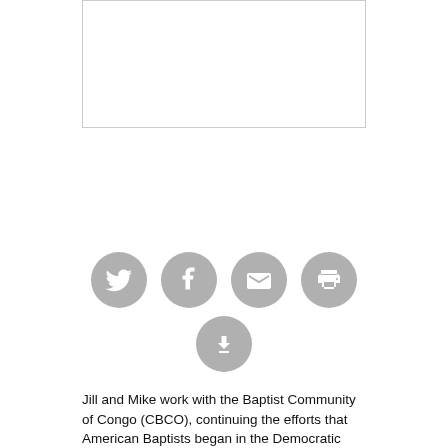[Figure (photo): Empty image placeholder box at top of page]
[Figure (other): Social media sharing icons: Twitter, Facebook, Email, Print, Download]
Jill and Mike work with the Baptist Community of Congo (CBCO), continuing the efforts that American Baptists began in the Democratic Republic of the Congo more than a century ago. Mike serves as pastor of the International Church of Kinshasa, which has a long history of serving English speakers in the capital city. Jill works with Mitendi Women's Center and Mitendi Primary School, ministering to